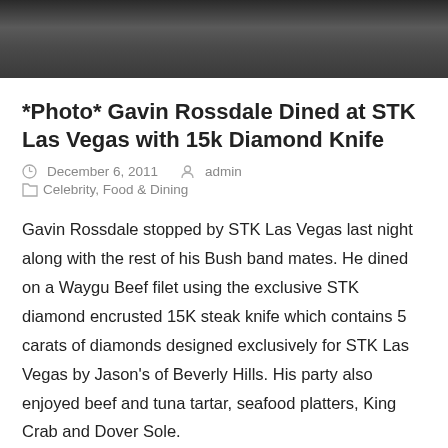[Figure (photo): Top portion of a photo showing people in dark clothing, cropped at the top of the page]
*Photo* Gavin Rossdale Dined at STK Las Vegas with 15k Diamond Knife
December 6, 2011   admin
Celebrity, Food & Dining
Gavin Rossdale stopped by STK Las Vegas last night along with the rest of his Bush band mates. He dined on a Waygu Beef filet using the exclusive STK diamond encrusted 15K steak knife which contains 5 carats of diamonds designed exclusively for STK Las Vegas by Jason's of Beverly Hills. His party also enjoyed beef and tuna tartar, seafood platters, King Crab and Dover Sole.
Gavin Rossdale was performing with Bush as part